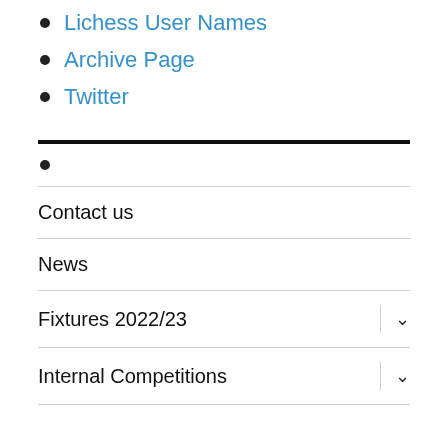Lichess User Names
Archive Page
Twitter
Contact us
News
Fixtures 2022/23
Internal Competitions